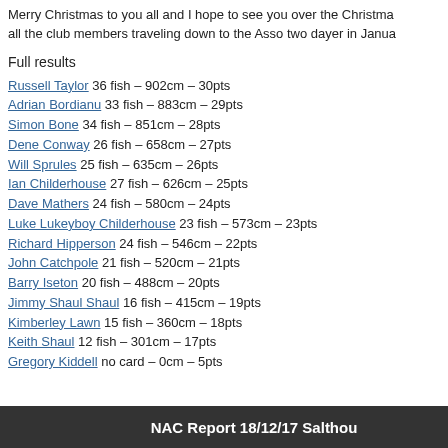Merry Christmas to you all and I hope to see you over the Christmas all the club members traveling down to the Asso two dayer in Janua
Full results
Russell Taylor 36 fish – 902cm – 30pts
Adrian Bordianu 33 fish – 883cm – 29pts
Simon Bone 34 fish – 851cm – 28pts
Dene Conway 26 fish – 658cm – 27pts
Will Sprules 25 fish – 635cm – 26pts
Ian Childerhouse 27 fish – 626cm – 25pts
Dave Mathers 24 fish – 580cm – 24pts
Luke Lukeyboy Childerhouse 23 fish – 573cm – 23pts
Richard Hipperson 24 fish – 546cm – 22pts
John Catchpole 21 fish – 520cm – 21pts
Barry Iseton 20 fish – 488cm – 20pts
Jimmy Shaul Shaul 16 fish – 415cm – 19pts
Kimberley Lawn 15 fish – 360cm – 18pts
Keith Shaul 12 fish – 301cm – 17pts
Gregory Kiddell no card – 0cm – 5pts
NAC Report 18/12/17 Salthou